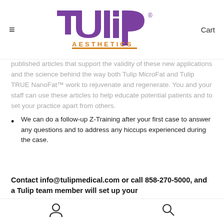Tulip Aesthetics — Cart
published articles that support the validity of these new applications and the science behind the way both Tulip MicroFat and Tulip TRUE NanoFat™ work to rejuvenate and regenerate. You and your staff can use these articles to help educate potential patients and to set your practice apart from others.
We can do a follow-up Z-Training after your first case to answer any questions and to address any hiccups experienced during the case.
Contact info@tulipmedical.com or call 858-270-5000, and a Tulip team member will set up your
User icon | Search icon